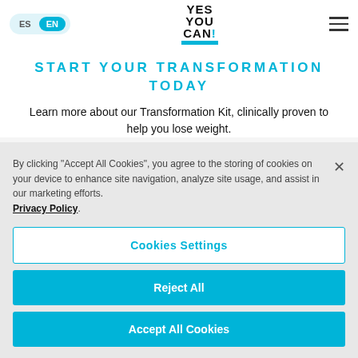ES | EN | YES YOU CAN! logo | hamburger menu
START YOUR TRANSFORMATION TODAY
Learn more about our Transformation Kit, clinically proven to help you lose weight.
By clicking "Accept All Cookies", you agree to the storing of cookies on your device to enhance site navigation, analyze site usage, and assist in our marketing efforts. Privacy Policy
Cookies Settings
Reject All
Accept All Cookies